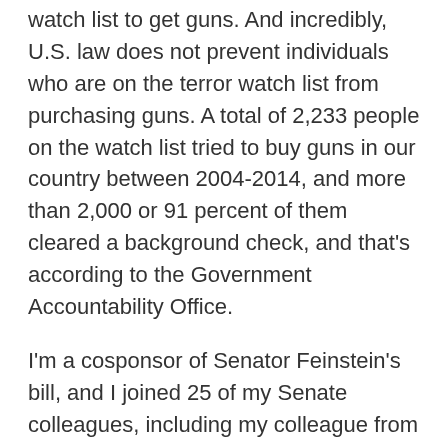watch list to get guns. And incredibly, U.S. law does not prevent individuals who are on the terror watch list from purchasing guns. A total of 2,233 people on the watch list tried to buy guns in our country between 2004-2014, and more than 2,000 or 91 percent of them cleared a background check, and that's according to the Government Accountability Office.
I'm a cosponsor of Senator Feinstein's bill, and I joined 25 of my Senate colleagues, including my colleague from Connecticut in offering an amendment that also would have stopped these dangerous individuals from buying firearms and explosives. The background check bill, we know that this helps. And that's why two, at the time, Senator Manchin and Senator Toomey joined